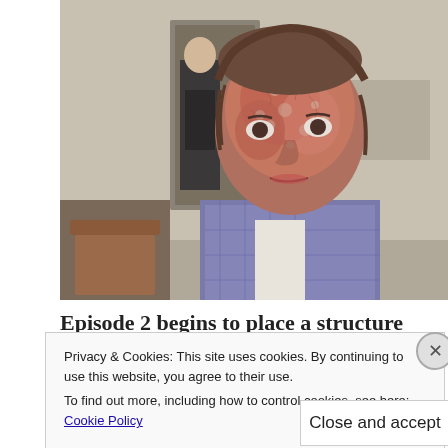[Figure (photo): A man with severely damaged, scarred and peeling reddish skin on his face, with medium-length brown hair, wearing a plaid blue-grey jacket and white shirt. He is seated and looking slightly to the side. In the background, another man in a dark suit stands near a door in what appears to be an institutional room.]
Episode 2 begins to place a structure upon this
Privacy & Cookies: This site uses cookies. By continuing to use this website, you agree to their use.
To find out more, including how to control cookies, see here: Cookie Policy
Close and accept